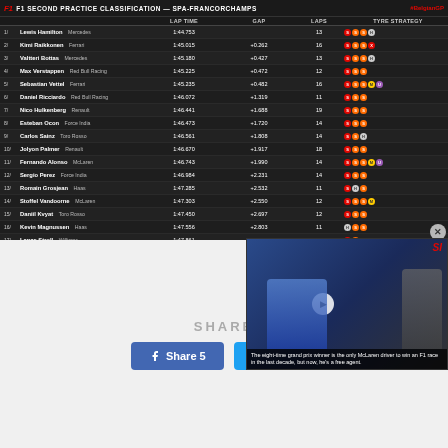| POS / DRIVER | TEAM | LAP TIME | GAP | LAPS | TYRE STRATEGY |
| --- | --- | --- | --- | --- | --- |
| 1 Lewis Hamilton | Mercedes | 1:44.753 |  | 13 |  |
| 2 Kimi Raikkonen | Ferrari | 1:45.015 | +0.262 | 16 |  |
| 3 Valtteri Bottas | Mercedes | 1:45.180 | +0.427 | 13 |  |
| 4 Max Verstappen | Red Bull Racing | 1:45.225 | +0.472 | 12 |  |
| 5 Sebastian Vettel | Ferrari | 1:45.235 | +0.482 | 16 |  |
| 6 Daniel Ricciardo | Red Bull Racing | 1:46.072 | +1.319 | 11 |  |
| 7 Nico Hulkenberg | Renault | 1:46.441 | +1.688 | 19 |  |
| 8 Esteban Ocon | Force India | 1:46.473 | +1.720 | 14 |  |
| 9 Carlos Sainz | Toro Rosso | 1:46.561 | +1.808 | 14 |  |
| 10 Jolyon Palmer | Renault | 1:46.670 | +1.917 | 18 |  |
| 11 Fernando Alonso | McLaren | 1:46.743 | +1.990 | 14 |  |
| 12 Sergio Perez | Force India | 1:46.984 | +2.231 | 14 |  |
| 13 Romain Grosjean | Haas | 1:47.285 | +2.532 | 11 |  |
| 14 Stoffel Vandoorne | McLaren | 1:47.303 | +2.550 | 12 |  |
| 15 Daniil Kvyat | Toro Rosso | 1:47.450 | +2.697 | 12 |  |
| 16 Kevin Magnussen | Haas | 1:47.556 | +2.803 | 11 |  |
| 17 Lance Stroll | Williams | 1:47.861 | +3.108 | 12 |  |
| 18 Marcus Ericsson | Sauber | 1:49.214 | +4.461 | 10 |  |
| 19 Pascal Wehrlein | Sauber | 1:49.725 | +4.972 | 16 |  |
| 20 Felipe Massa | Williams |  |  | 0 |  |
[Figure (screenshot): Video thumbnail showing a racing driver holding a trophy, with SI logo in corner. Caption reads: The eight-time grand prix winner is the only McLaren driver to win an F1 race in the last decade, but now, he's a free agent.]
SHARE
Share 5
Tweet